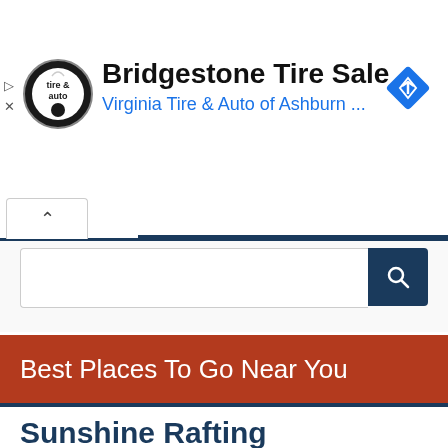[Figure (screenshot): Ad banner for Bridgestone Tire Sale at Virginia Tire & Auto of Ashburn with logo and navigation arrow icon]
[Figure (screenshot): Search bar with magnifying glass button and tab navigation with caret up icon]
Best Places To Go Near You
Sunshine Rafting Adventures
18000 Covered Bridge Road, Knights Ferry, CA
About:- Sunshine Rafting Adventures has been running river rafting trips on the Stanislaus River out of Knights Ferry for over 30 years. What start... Read More